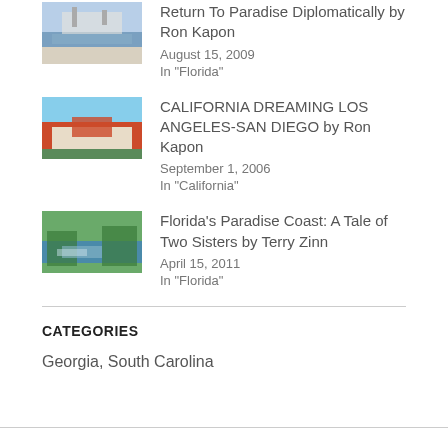[Figure (photo): Thumbnail photo of a boat/ship at a dock]
Return To Paradise Diplomatically by Ron Kapon
August 15, 2009
In "Florida"
[Figure (photo): Thumbnail photo of Hotel Del Coronado style red-roofed building]
CALIFORNIA DREAMING LOS ANGELES-SAN DIEGO by Ron Kapon
September 1, 2006
In "California"
[Figure (photo): Thumbnail photo of a waterway with trees and a boat]
Florida's Paradise Coast: A Tale of Two Sisters by Terry Zinn
April 15, 2011
In "Florida"
CATEGORIES
Georgia, South Carolina